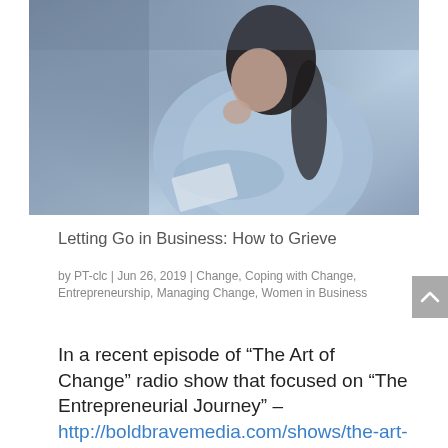[Figure (photo): A woman in a blue shirt sitting and looking thoughtful, holding papers, with her hand near her chin in a contemplative pose]
Letting Go in Business: How to Grieve
by PT-clc | Jun 26, 2019 | Change, Coping with Change, Entrepreneurship, Managing Change, Women in Business
In a recent episode of “The Art of Change” radio show that focused on “The Entrepreneurial Journey” – http://boldbravemedia.com/shows/the-art-of-change/ – my guest, serial